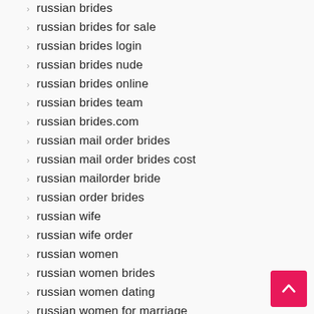russian brides
russian brides for sale
russian brides login
russian brides nude
russian brides online
russian brides team
russian brides.com
russian mail order brides
russian mail order brides cost
russian mailorder bride
russian order brides
russian wife
russian wife order
russian women
russian women brides
russian women dating
russian women for marriage
russianbride
russianbrides.com